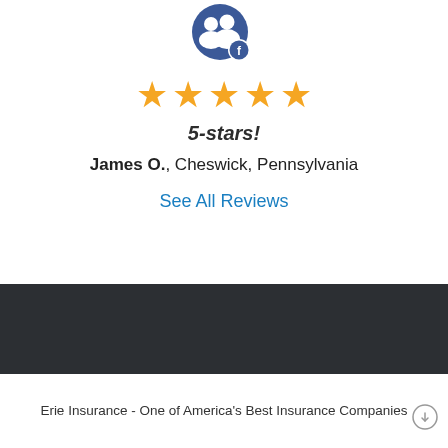[Figure (logo): Facebook avatar icon — dark blue circle with two overlapping user silhouettes and a small white Facebook 'f' badge in the lower right corner]
[Figure (other): Five gold star rating icons displayed in a row]
5-stars!
James O., Cheswick, Pennsylvania
See All Reviews
[Figure (photo): Dark charcoal/near-black horizontal band spanning full width]
Erie Insurance - One of America's Best Insurance Companies